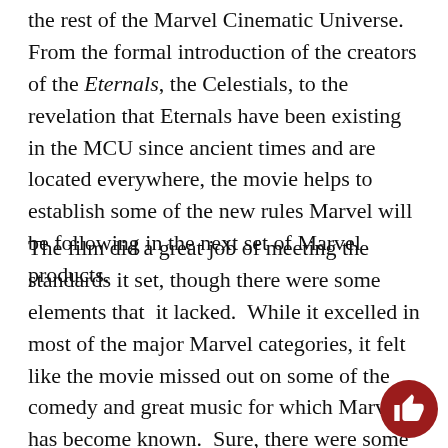the rest of the Marvel Cinematic Universe.  From the formal introduction of the creators of the Eternals, the Celestials, to the revelation that Eternals have been existing in the MCU since ancient times and are located everywhere, the movie helps to establish some of the new rules Marvel will be following in the next set of Marvel products.
The film did a great job of meeting the standards it set, though there were some elements that  it lacked.  While it excelled in most of the major Marvel categories, it felt like the movie missed out on some of the comedy and great music for which Marvel has become known.  Sure, there were some attempts at humor, but they weren't as frequent or successful as in other movies.  The music tried to match the tone of the movie, but the main them...